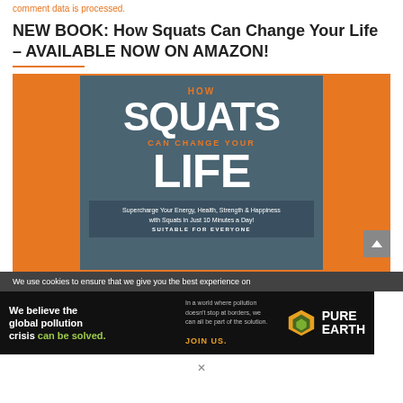comment data is processed.
NEW BOOK: How Squats Can Change Your Life – AVAILABLE NOW ON AMAZON!
[Figure (photo): Book cover for 'How Squats Can Change Your Life' – orange background with a dark teal panel showing the title in large white text, orange subtitle 'CAN CHANGE YOUR', a subtitle bar reading 'Supercharge Your Energy, Health, Strength & Happiness with Squats in Just 10 Minutes a Day! SUITABLE FOR EVERYONE']
We use cookies to ensure that we give you the best experience on
[Figure (infographic): Pure Earth advertisement banner. Left: 'We believe the global pollution crisis can be solved.' Middle: 'In a world where pollution doesn't stop at borders, we can all be part of the solution. JOIN US.' Right: Pure Earth logo with diamond/chevron icon.]